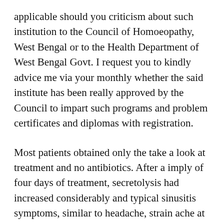applicable should you criticism about such institution to the Council of Homoeopathy, West Bengal or to the Health Department of West Bengal Govt. I request you to kindly advice me via your monthly whether the said institute has been really approved by the Council to impart such programs and problem certificates and diplomas with registration.
Most patients obtained only the take a look at treatment and no antibiotics. After a imply of four days of treatment, secretolysis had increased considerably and typical sinusitis symptoms, similar to headache, strain ache at nerve exit factors, and worsening cough, have been reduced. At the end of the treatment, eighty one.5{6d511584488bbdbe3c98545e3861c528ef9cd09502d39 of patients described themselves as symptom free or significantly improved. Homeopathic formulations in